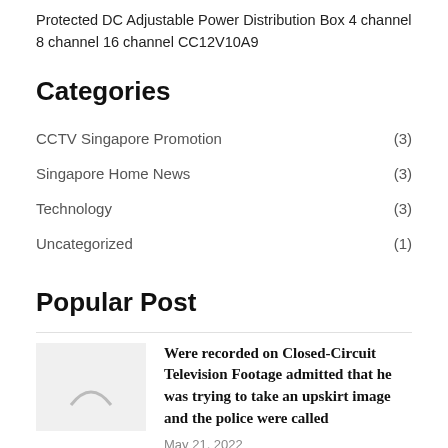Protected DC Adjustable Power Distribution Box 4 channel 8 channel 16 channel CC12V10A9
Categories
CCTV Singapore Promotion (3)
Singapore Home News (3)
Technology (3)
Uncategorized (1)
Popular Post
Were recorded on Closed-Circuit Television Footage admitted that he was trying to take an upskirt image and the police were called
May 21, 2022
Maid Kill Employer admitted Slashing Stabbing Employer over 90 times